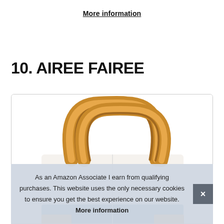More information
10. AIREE FAIREE
[Figure (photo): Product photo of an Airee Fairee handbag with tan/camel leather handles and white/blue body, shown inside a rounded-corner bordered box.]
As an Amazon Associate I earn from qualifying purchases. This website uses the only necessary cookies to ensure you get the best experience on our website. More information